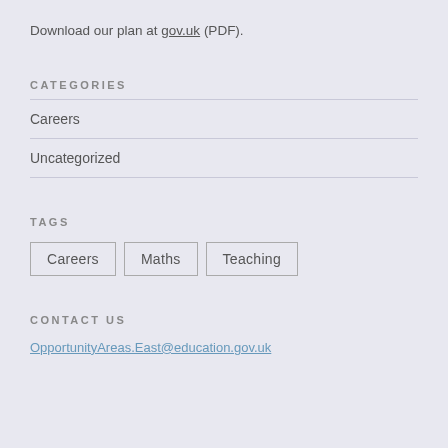Download our plan at gov.uk (PDF).
CATEGORIES
Careers
Uncategorized
TAGS
Careers
Maths
Teaching
CONTACT US
OpportunityAreas.East@education.gov.uk